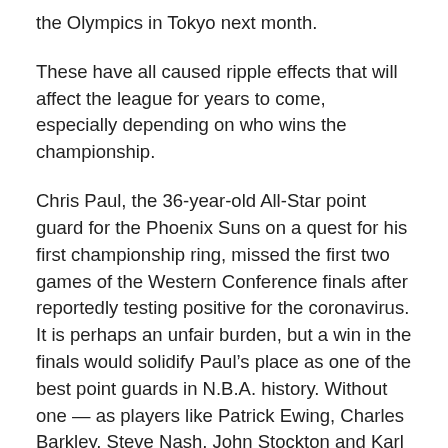the Olympics in Tokyo next month.
These have all caused ripple effects that will affect the league for years to come, especially depending on who wins the championship.
Chris Paul, the 36-year-old All-Star point guard for the Phoenix Suns on a quest for his first championship ring, missed the first two games of the Western Conference finals after reportedly testing positive for the coronavirus. It is perhaps an unfair burden, but a win in the finals would solidify Paul’s place as one of the best point guards in N.B.A. history. Without one — as players like Patrick Ewing, Charles Barkley, Steve Nash, John Stockton and Karl Malone have seen — many will always view his résumé as incomplete.
The decision to start the season so soon after the last one has led to clarity in the tight five on their already lit …